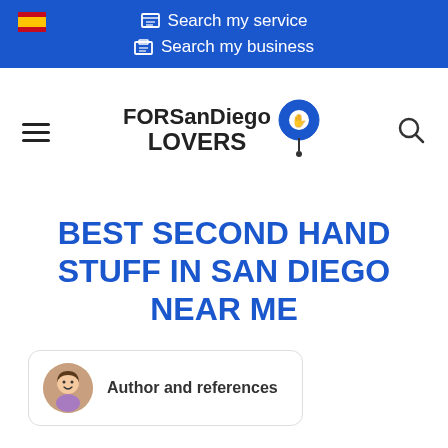Search my service | Search my business
[Figure (logo): FORSanDiego LOVERS logo with map pin icon]
BEST SECOND HAND STUFF IN SAN DIEGO NEAR ME
Author and references